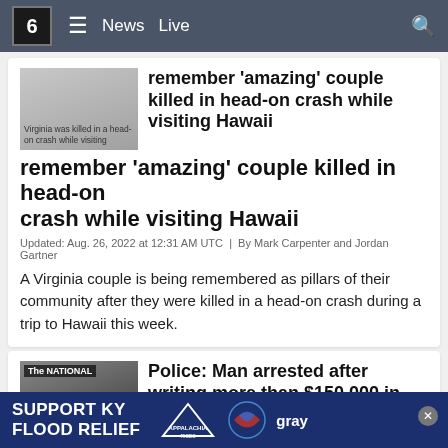6  ≡  News  Live  🔍
remember 'amazing' couple killed in head-on crash while visiting Hawaii
Updated: Aug. 26, 2022 at 12:31 AM UTC  |  By Mark Carpenter and Jordan Gartner
A Virginia couple is being remembered as pillars of their community after they were killed in a head-on crash during a trip to Hawaii this week.
Police: Man arrested after writing more than $150,000 in fake checks to buy new cars
Updated: Aug. 25, 2022 at 11:27 PM UTC  |  By Adrienne DeMoss and Jordan Gartner
A Texas man is accused of writing fraudulent checks to buy s...
SUPPORT KY FLOOD RELIEF  APPALACHIA RISES  gray